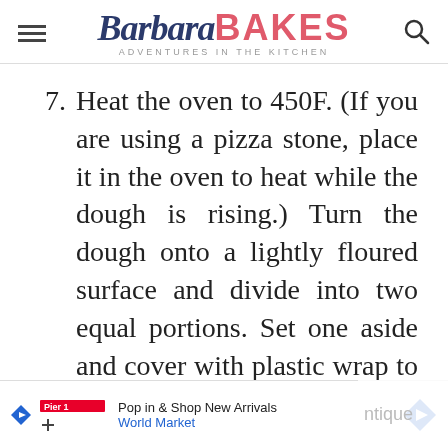Barbara BAKES — ADVENTURES in the KITCHEN
7. Heat the oven to 450F. (If you are using a pizza stone, place it in the oven to heat while the dough is rising.) Turn the dough onto a lightly floured surface and divide into two equal portions. Set one aside and cover with plastic wrap to keep it from drying out.
8. Shape the other portion into a round by hand. Place the rolling pin in the center of the round and push outward. Rotate
[Figure (other): Advertisement bar: Pop in & Shop New Arrivals — World Market, with a blue diamond arrow icon]